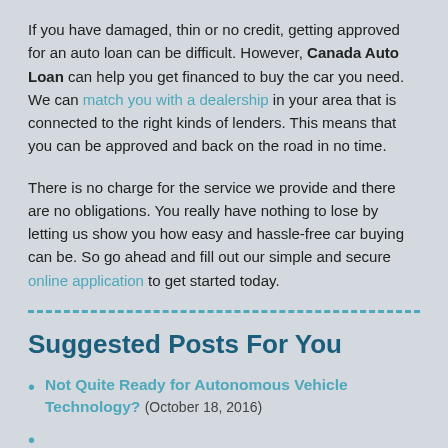If you have damaged, thin or no credit, getting approved for an auto loan can be difficult. However, Canada Auto Loan can help you get financed to buy the car you need. We can match you with a dealership in your area that is connected to the right kinds of lenders. This means that you can be approved and back on the road in no time.
There is no charge for the service we provide and there are no obligations. You really have nothing to lose by letting us show you how easy and hassle-free car buying can be. So go ahead and fill out our simple and secure online application to get started today.
Suggested Posts For You
Not Quite Ready for Autonomous Vehicle Technology? (October 18, 2016)